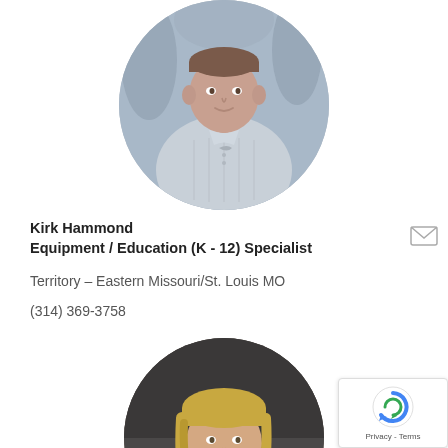[Figure (photo): Circular portrait photo of Kirk Hammond, a man wearing a light gray polo shirt, standing in what appears to be a warehouse or storage area]
Kirk Hammond
Equipment / Education (K - 12) Specialist
Territory – Eastern Missouri/St. Louis MO
(314) 369-3758
[Figure (photo): Circular portrait photo of a woman with blonde hair, partially visible at the bottom of the page]